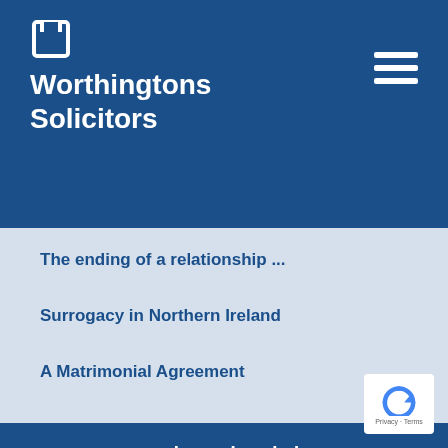[Figure (logo): Worthingtons Solicitors logo icon - white square bracket style icon on dark blue background]
Worthingtons Solicitors
[Figure (other): Hamburger menu icon - three white horizontal lines on dark blue background]
The ending of a relationship ...
Surrogacy in Northern Ireland
A Matrimonial Agreement
For expert legal advice
Call 028 9043 4015 or
CONTACT US
[Figure (other): Google reCAPTCHA badge - Privacy · Terms]